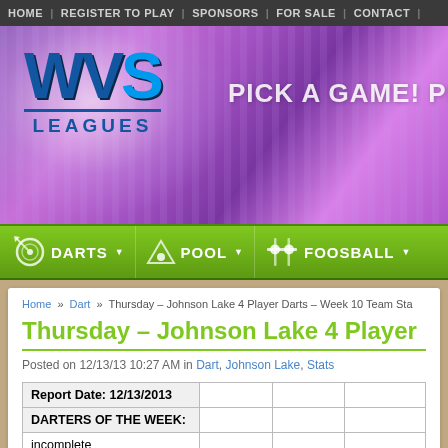HOME | REGISTER TO PLAY | SPONSORS | FOR SALE | CONTACT |
[Figure (logo): WVS Leagues logo with tagline PICK A GAME! on purple/magenta gradient banner background]
[Figure (infographic): Green navigation bar with DARTS, POOL, FOOSBALL menu items with icons and dropdown arrows]
Home » Dart » Thursday – Johnson Lake 4 Player Darts – Week 10 Team Sta
Thursday – Johnson Lake 4 Player
Posted on 12/13/13 10:27 AM in Dart, Johnson Lake, Stats
| Report Date: 12/13/2013 |  |  |  |
| DARTERS OF THE WEEK: |  |  |  |
| incomplete |  |  |  |
|  |  |  |  |